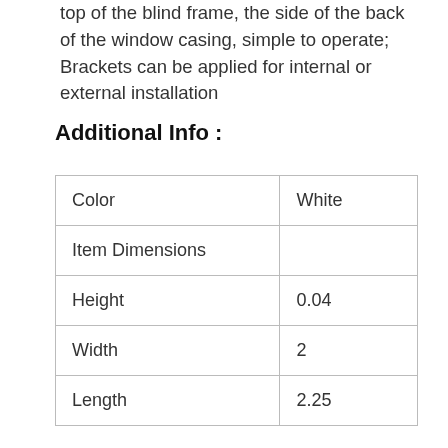top of the blind frame, the side of the back of the window casing, simple to operate; Brackets can be applied for internal or external installation
Additional Info :
| Color | White |
| Item Dimensions |  |
| Height | 0.04 |
| Width | 2 |
| Length | 2.25 |